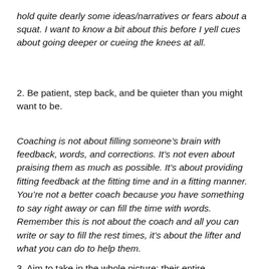hold quite dearly some ideas/narratives or fears about a squat.  I want to know a bit about this before I yell cues about going deeper or cueing the knees at all.
2. Be patient, step back, and be quieter than you might want to be.
Coaching is not about filling someone's brain with feedback, words, and corrections.  It's not even about praising them as much as possible. It's about providing fitting feedback at the fitting time and in a fitting manner.  You're not a better coach because you have something to say right away or can fill the time with words.  Remember this is not about the coach and all you can write or say to fill the rest times, it's about the lifter and what you can do to help them.
3. Aim to take in the whole picture: their entire movement.